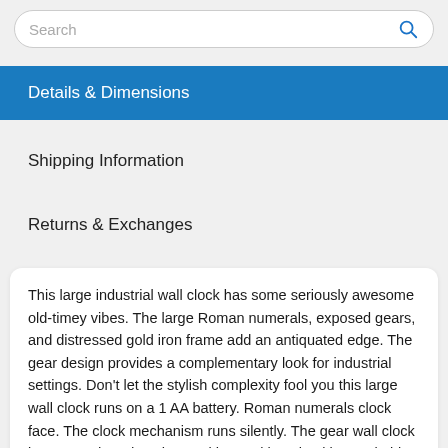Search
Details & Dimensions
Shipping Information
Returns & Exchanges
This large industrial wall clock has some seriously awesome old-timey vibes. The large Roman numerals, exposed gears, and distressed gold iron frame add an antiquated edge. The gear design provides a complementary look for industrial settings. Don't let the stylish complexity fool you this large wall clock runs on a 1 AA battery. Roman numerals clock face. The clock mechanism runs silently. The gear wall clock is easy and ready to hang with metal loop backing. Suitable for indoor use only. This item comes shipped in one carton.
Dimensions: 9"H x 23"D x 23"H